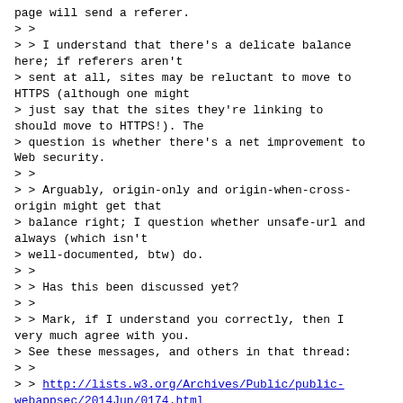page will send a referer.
> >
> > I understand that there's a delicate balance here; if referers aren't
> sent at all, sites may be reluctant to move to HTTPS (although one might
> just say that the sites they're linking to should move to HTTPS!). The
> question is whether there's a net improvement to Web security.
> >
> > Arguably, origin-only and origin-when-cross-origin might get that
> balance right; I question whether unsafe-url and always (which isn't
> well-documented, btw) do.
> >
> > Has this been discussed yet?
> >
> > Mark, if I understand you correctly, then I very much agree with you.
> See these messages, and others in that thread:
> >
> > http://lists.w3.org/Archives/Public/public-webappsec/2014Jun/0174.html
> > http://lists.w3.org/Archives/Public/public-webappsec/2014Jun/0162.html
> >
> > See also: